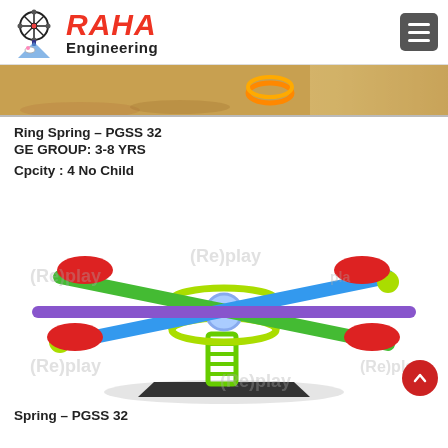[Figure (logo): Raha Engineering logo with ferris wheel and carousel horse icon, red bold italic RAHA text with Engineering subtitle]
[Figure (photo): Banner photo showing sand with orange rings/toys visible]
Ring Spring – PGSS 32
GE GROUP: 3-8 YRS
Cpcity : 4 No Child
[Figure (photo): Spring seesaw playground equipment (Ring Spring PGSS 32) with 4 red seats, colorful tubes in green, blue, purple, yellow-green spring base on black platform, with watermark text]
Spring – PGSS 32